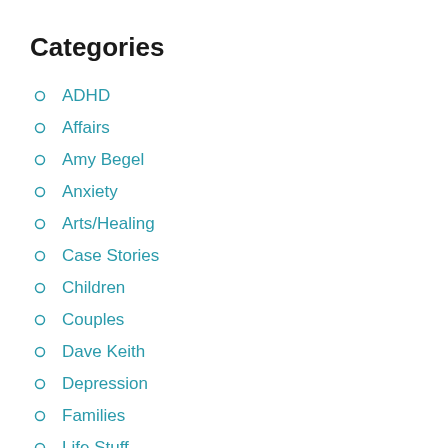Categories
ADHD
Affairs
Amy Begel
Anxiety
Arts/Healing
Case Stories
Children
Couples
Dave Keith
Depression
Families
Life Stuff
Medical Culture/Politics